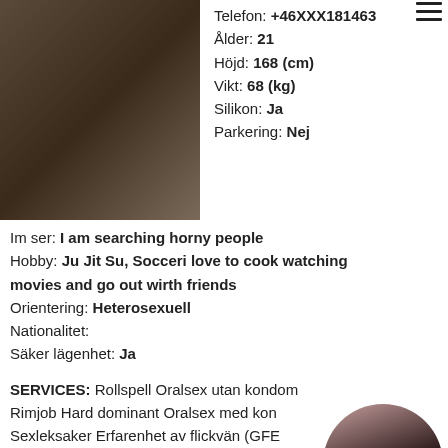[Figure (photo): Photo of a person from behind wearing minimal clothing, standing against a light background]
Telefon: +46XXX181463
Ålder: 21
Höjd: 168 (cm)
Vikt: 68 (kg)
Silikon: Ja
Parkering: Nej
Im ser: I am searching horny people
Hobby: Ju Jit Su, Socceri love to cook watching movies and go out wirth friends
Orientering: Heterosexuell
Nationalitet:
Säker lägenhet: Ja
SERVICES: Rollspell Oralsex utan kondom Rimjob Hard dominant Oralsex med kondom Sexleksaker Erfarenhet av flickvän (GFE) (BDSM) Svensexa Bröstknulla Slavträning Har flickvän CIM (komma i munnen) Högklackat stövlar Kyss Foto Tar emot slavar Prostatemassage Anal
[Figure (photo): Circular cropped photo of a dark-haired woman]